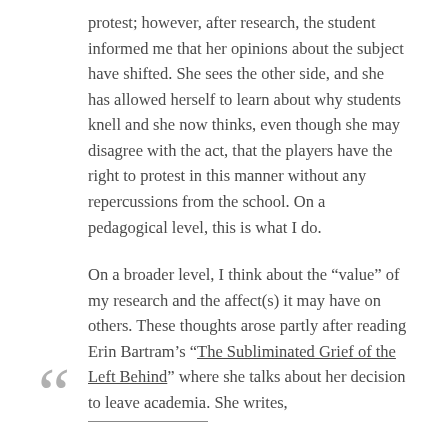protest; however, after research, the student informed me that her opinions about the subject have shifted. She sees the other side, and she has allowed herself to learn about why students knell and she now thinks, even though she may disagree with the act, that the players have the right to protest in this manner without any repercussions from the school. On a pedagogical level, this is what I do.

On a broader level, I think about the “value” of my research and the affect(s) it may have on others. These thoughts arose partly after reading Erin Bartram’s “The Subliminated Grief of the Left Behind” where she talks about her decision to leave academia. She writes,